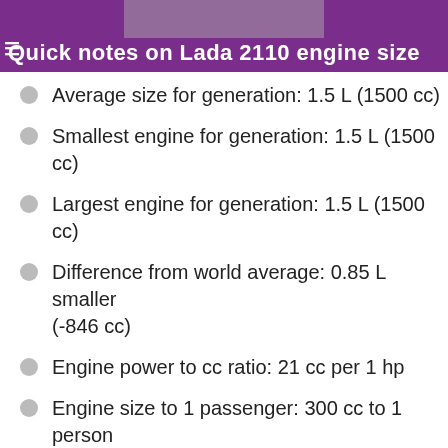Quick notes on Lada 2110 engine size
Average size for generation: 1.5 L (1500 cc)
Smallest engine for generation: 1.5 L (1500 cc)
Largest engine for generation: 1.5 L (1500 cc)
Difference from world average: 0.85 L smaller (-846 cc)
Engine power to cc ratio: 21 cc per 1 hp
Engine size to 1 passenger: 300 cc to 1 person
Difference from world's biggest: 6.9 L smaller